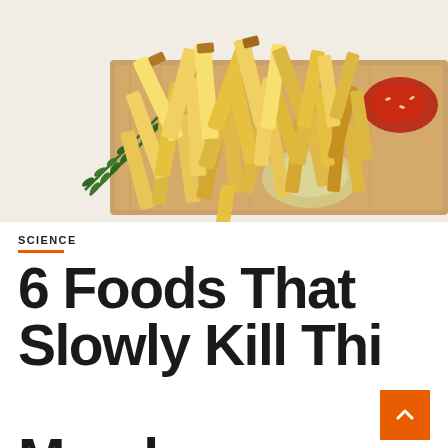[Figure (photo): Overhead photo of golden french fries piled on a wooden cutting board, with rosemary herb sprigs on the left, a small dish of mayonnaise in the center-right, and ketchup in the upper-right corner, on white paper background.]
SCIENCE
6 Foods That Slowly Kill This Member